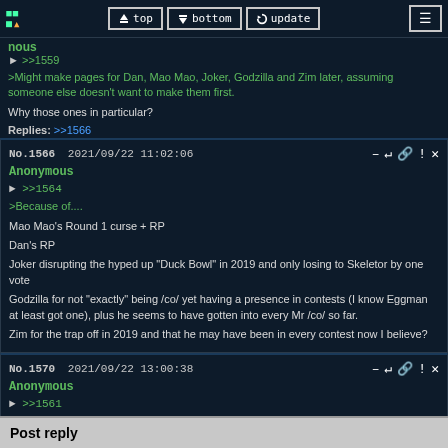Anonymous | top | bottom | update
>>1559
>Might make pages for Dan, Mao Mao, Joker, Godzilla and Zim later, assuming someone else doesn't want to make them first.

Why those ones in particular?

Replies: >>1566
No.1566  2021/09/22 11:02:06
Anonymous
>>1564
>Because of....

Mao Mao's Round 1 curse + RP

Dan's RP

Joker disrupting the hyped up "Duck Bowl" in 2019 and only losing to Skeletor by one vote

Godzilla for not "exactly" being /co/ yet having a presence in contests (I know Eggman at least got one), plus he seems to have gotten into every Mr /co/ so far.

Zim for the trap off in 2019 and that he may have been in every contest now I believe?
No.1570  2021/09/22 13:00:38
Anonymous
>>1561
Post reply